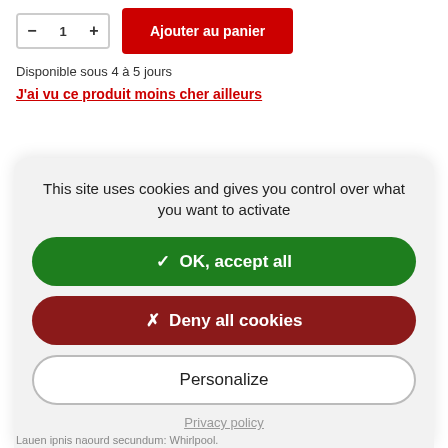Disponible sous 4 à 5 jours
J'ai vu ce produit moins cher ailleurs
This site uses cookies and gives you control over what you want to activate
✓  OK, accept all
✗  Deny all cookies
Personalize
Privacy policy
Lauen ipnis naourd secundum: Whirlpool.